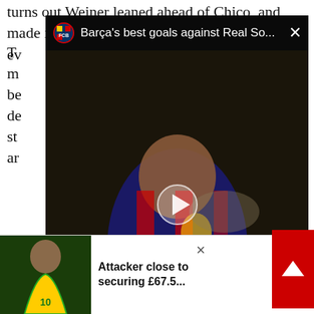turns out Weiner leaned ahead of Chico, and made it ev
[Figure (screenshot): Video overlay showing 'Barça's best goals against Real So...' with a Barcelona jersey thumbnail and play button, FC Barcelona logo, and close button]
go a year ago because we kept him under some kind of house arrest. But football is a squad game. Last season he was needed in the manager's mind. Had he got in and showed that he was willing to up the workrate, and develop his style to compliment that of the team...there's every chance he would have played
[Figure (screenshot): Bottom promo bar: photo of player in yellow/green Brazil kit, text 'Attacker close to securing £67.5...', close button, red scroll-to-top button with up arrow]
efore he didn't play ng-term injuries, steer away from this